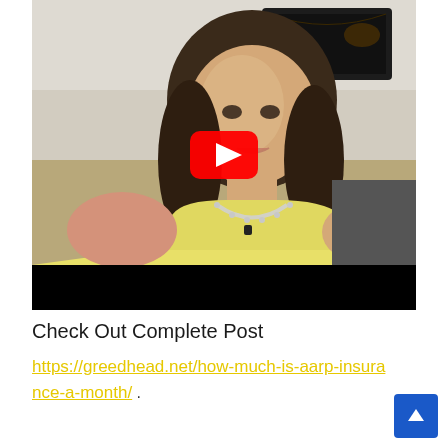[Figure (screenshot): YouTube video thumbnail showing a woman with brown hair wearing a yellow sleeveless top and pearl necklace, sitting in front of a wall with a dark TV/monitor mounted on it. A YouTube play button (red rounded rectangle with white triangle) is overlaid in the center. The bottom of the video area is a black bar.]
Check Out Complete Post
https://greedhead.net/how-much-is-aarp-insurance-a-month/ .